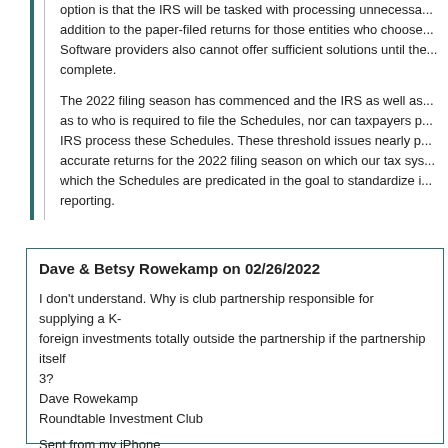option is that the IRS will be tasked with processing unnecessa... addition to the paper-filed returns for those entities who choose... Software providers also cannot offer sufficient solutions until the... complete.
The 2022 filing season has commenced and the IRS as well as... as to who is required to file the Schedules, nor can taxpayers p... IRS process these Schedules. These threshold issues nearly p... accurate returns for the 2022 filing season on which our tax sys... which the Schedules are predicated in the goal to standardize i... reporting.
Dave & Betsy Rowekamp on 02/26/2022
I don't understand. Why is club partnership responsible for supplying a K-foreign investments totally outside the partnership if the partnership itself 3?
Dave Rowekamp
Roundtable Investment Club

Sent from my iPhone